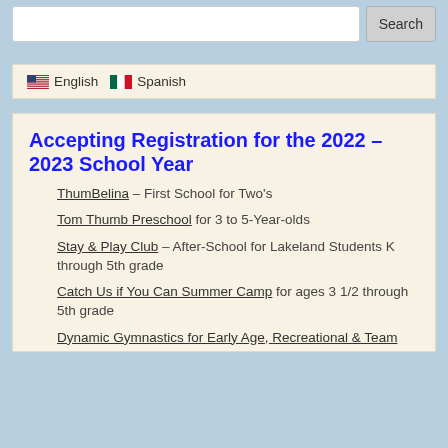Search
English  Spanish
Accepting Registration for the 2022 – 2023 School Year
ThumBelina – First School for Two's
Tom Thumb Preschool for 3 to 5-Year-olds
Stay & Play Club – After-School for Lakeland Students K through 5th grade
Catch Us if You Can Summer Camp for ages 3 1/2 through 5th grade
Dynamic Gymnastics for Early Age, Recreational & Team